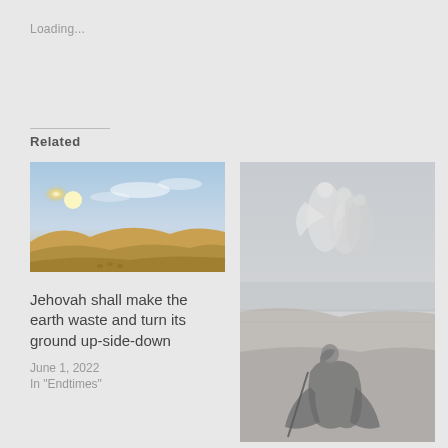Loading...
Related
[Figure (photo): Desert landscape with sand dunes and a bright sun low on the horizon with a blue sky and scattered clouds]
Jehovah shall make the earth waste and turn its ground up-side-down
June 1, 2022
In "Endtimes"
[Figure (illustration): Grayscale illustration of angelic figures in a desert or barren landscape, with a robed figure in the foreground]
Written to recognise the Promissed One
February 16, 2012
In "Bible Quotes"